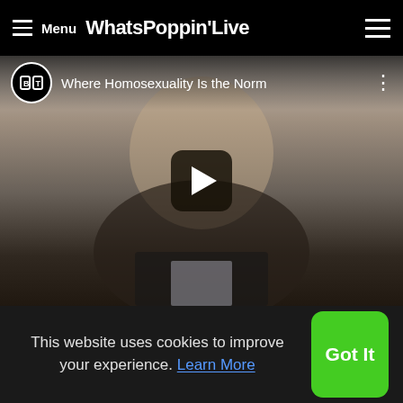Menu WhatsPoppin'Live
[Figure (screenshot): YouTube-style video player showing 'Where Homosexuality Is the Norm' with BT logo, person's face in background, play button overlay]
[Figure (photo): Silhouette of two people facing each other, with caption 'I Think My Girlfriend Is']
[Figure (screenshot): Dark thumbnail with text 'Mary J. Blige ft. Rick Ross - Why? (Official Video)']
This website uses cookies to improve your experience. Learn More
Got It